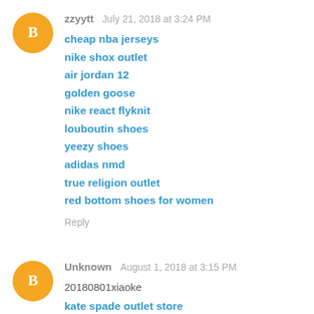zzyytt  July 21, 2018 at 3:24 PM
cheap nba jerseys
nike shox outlet
air jordan 12
golden goose
nike react flyknit
louboutin shoes
yeezy shoes
adidas nmd
true religion outlet
red bottom shoes for women
Reply
Unknown  August 1, 2018 at 3:15 PM
20180801xiaoke
kate spade outlet store
stuart weitzman shoes
tory burch outlet store